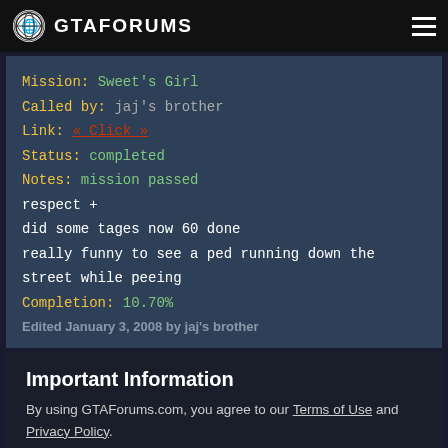GTAFORUMS
Mission: Sweet's Girl
Called by: jaj's brother
Link: « Click »
Status: completed
Notes: mission passed
respect +
did some tages now 60 done
really funny to see a ped running down the street while peeing
Completion: 10.70%
Edited January 3, 2008 by jaj's brother
Important Information
By using GTAForums.com, you agree to our Terms of Use and Privacy Policy.
✓ I accept